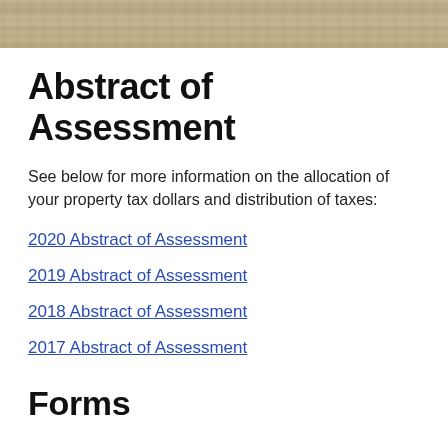[Figure (photo): Stone or granite textured surface banner image at top of page]
Abstract of Assessment
See below for more information on the allocation of your property tax dollars and distribution of taxes:
2020 Abstract of Assessment
2019 Abstract of Assessment
2018 Abstract of Assessment
2017 Abstract of Assessment
Forms